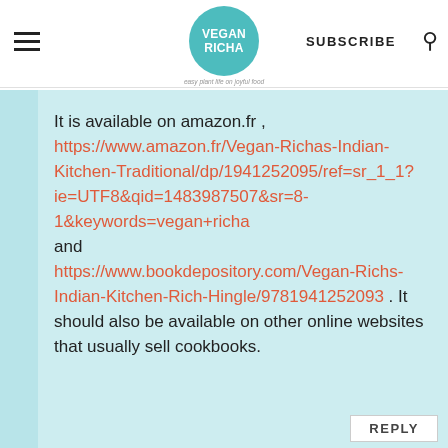VEGAN RICHA | SUBSCRIBE
It is available on amazon.fr , https://www.amazon.fr/Vegan-Richas-Indian-Kitchen-Traditional/dp/1941252095/ref=sr_1_1?ie=UTF8&qid=1483987507&sr=8-1&keywords=vegan+richa and https://www.bookdepository.com/Vegan-Richs-Indian-Kitchen-Rich-Hingle/9781941252093 . It should also be available on other online websites that usually sell cookbooks.